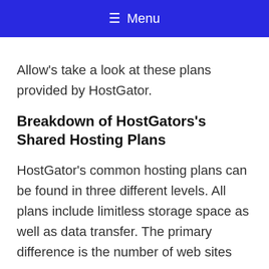≡ Menu
Allow's take a look at these plans provided by HostGator.
Breakdown of HostGators's Shared Hosting Plans
HostGator's common hosting plans can be found in three different levels. All plans include limitless storage space as well as data transfer. The primary difference is the number of web sites